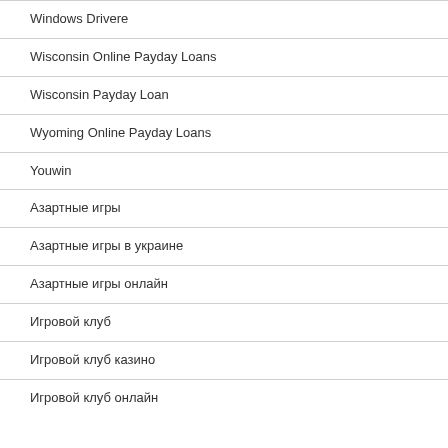Windows Drivere
Wisconsin Online Payday Loans
Wisconsin Payday Loan
Wyoming Online Payday Loans
Youwin
Азартные игры
Азартные игры в украине
Азартные игры онлайн
Игровой клуб
Игровой клуб казино
Игровой клуб онлайн